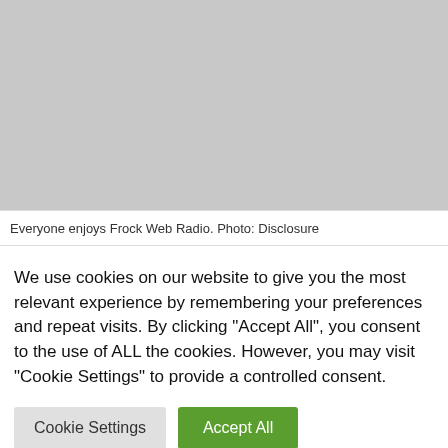[Figure (photo): Photo area showing people enjoying Frock Web Radio, greyed out placeholder]
Everyone enjoys Frock Web Radio. Photo: Disclosure
We use cookies on our website to give you the most relevant experience by remembering your preferences and repeat visits. By clicking “Accept All”, you consent to the use of ALL the cookies. However, you may visit "Cookie Settings" to provide a controlled consent.